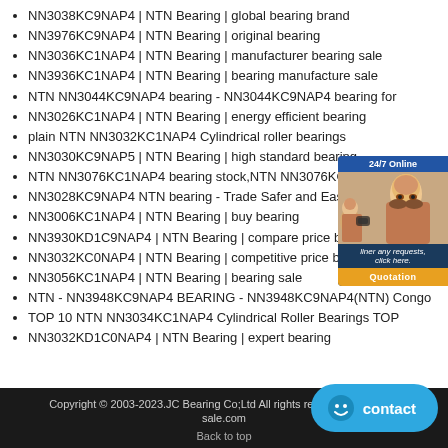NN3038KC9NAP4 | NTN Bearing | global bearing brand
NN3976KC9NAP4 | NTN Bearing | original bearing
NN3036KC1NAP4 | NTN Bearing | manufacturer bearing sale
NN3936KC1NAP4 | NTN Bearing | bearing manufacture sale
NTN NN3044KC9NAP4 bearing - NN3044KC9NAP4 bearing for
NN3026KC1NAP4 | NTN Bearing | energy efficient bearing
plain NTN NN3032KC1NAP4 Cylindrical roller bearings
NN3030KC9NAP5 | NTN Bearing | high standard bearing
NTN NN3076KC1NAP4 bearing stock,NTN NN3076KC1NAP4 su
NN3028KC9NAP4 NTN bearing - Trade Safer and Easier
NN3006KC1NAP4 | NTN Bearing | buy bearing
NN3930KD1C9NAP4 | NTN Bearing | compare price bearing
NN3032KC0NAP4 | NTN Bearing | competitive price bearing
NN3056KC1NAP4 | NTN Bearing | bearing sale
NTN - NN3948KC9NAP4 BEARING - NN3948KC9NAP4(NTN) Congo
TOP 10 NTN NN3034KC1NAP4 Cylindrical Roller Bearings TOP
NN3032KD1C0NAP4 | NTN Bearing | expert bearing
[Figure (photo): 24/7 Online chat widget with female customer service representative and Quotation button]
Copyright © 2003-2023.JC Bearing Co;Ltd All rights reserved. | bearing-sale.com   Back to top
[Figure (infographic): Blue contact button with smiley face icon]